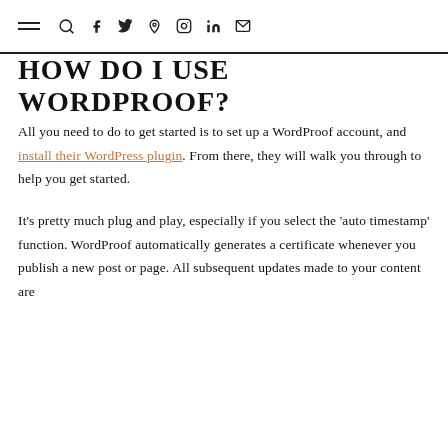☰ 🔍 f 🐦 p ◎ in ✉
HOW DO I USE WORDPROOF?
All you need to do to get started is to set up a WordProof account, and install their WordPress plugin. From there, they will walk you through to help you get started.
It's pretty much plug and play, especially if you select the 'auto timestamp' function. WordProof automatically generates a certificate whenever you publish a new post or page. All subsequent updates made to your content are